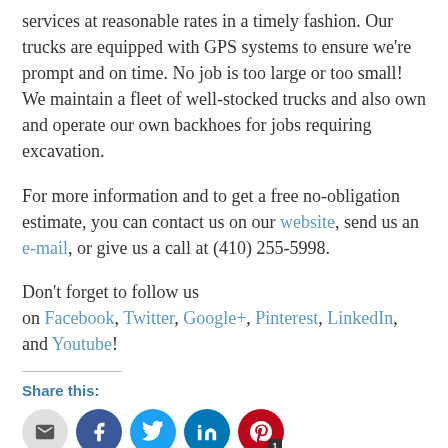services at reasonable rates in a timely fashion. Our trucks are equipped with GPS systems to ensure we're prompt and on time. No job is too large or too small! We maintain a fleet of well-stocked trucks and also own and operate our own backhoes for jobs requiring excavation.
For more information and to get a free no-obligation estimate, you can contact us on our website, send us an e-mail, or give us a call at (410) 255-5998.
Don't forget to follow us on Facebook, Twitter, Google+, Pinterest, LinkedIn, and Youtube!
Share this:
[Figure (other): Social share buttons: email, Facebook, Twitter, LinkedIn, Pinterest (with badge '1')]
Categories · Posted · Tags ...